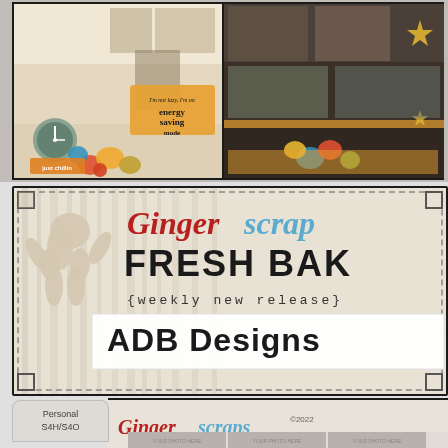[Figure (illustration): Two digital scrapbook layout pages side by side showing colorful floral decorations, personal photos, and mixed media elements on a dark background]
[Figure (illustration): Gingerscraps Fresh Baked weekly new release banner with gingerbread man silhouette on wood-grain background, showing ADB Designs as the featured designer]
Personal S4H/S4O
[Figure (logo): Gingerscraps logo with copyright 2022]
[Figure (illustration): Digital scrapbook template preview with three photo placeholder boxes labeled YOUR PHOTO HERE]